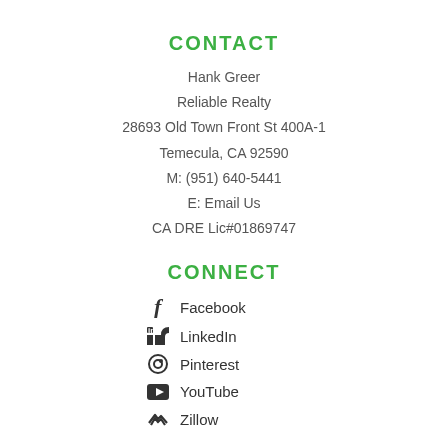CONTACT
Hank Greer
Reliable Realty
28693 Old Town Front St 400A-1
Temecula, CA 92590
M: (951) 640-5441
E: Email Us
CA DRE Lic#01869747
CONNECT
Facebook
LinkedIn
Pinterest
YouTube
Zillow